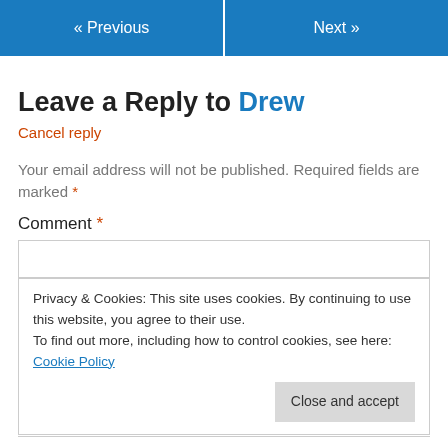« Previous   Next »
Leave a Reply to Drew
Cancel reply
Your email address will not be published. Required fields are marked *
Comment *
Privacy & Cookies: This site uses cookies. By continuing to use this website, you agree to their use. To find out more, including how to control cookies, see here: Cookie Policy
Close and accept